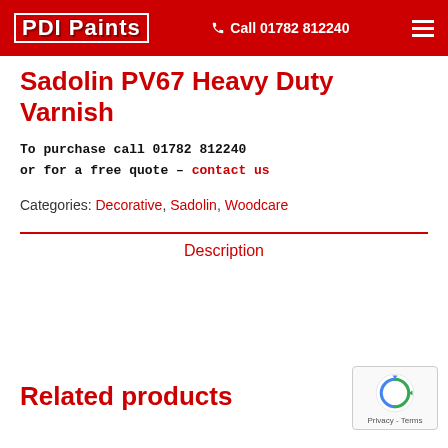PDI Paints | Call 01782 812240
Sadolin PV67 Heavy Duty Varnish
To purchase call 01782 812240 or for a free quote – contact us
Categories: Decorative, Sadolin, Woodcare
Description
Related products